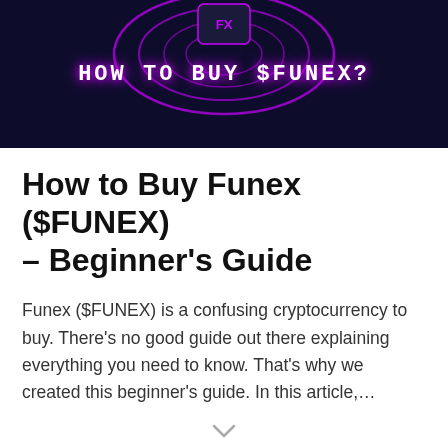[Figure (illustration): Dark navy banner with purple neon concentric rings and a small logo icon at top center, with the text 'HOW TO BUY $FUNEX?' in glowing white monospace letters]
How to Buy Funex ($FUNEX) – Beginner's Guide
Funex ($FUNEX) is a confusing cryptocurrency to buy. There's no good guide out there explaining everything you need to know. That's why we created this beginner's guide. In this article,…